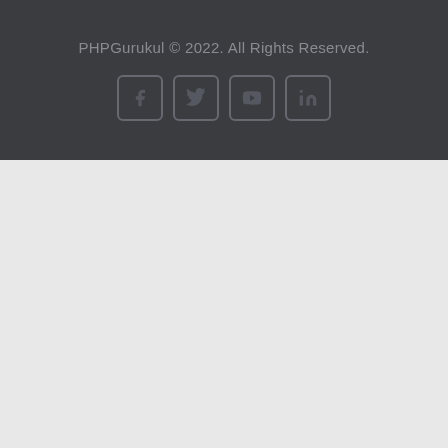PHPGurukul © 2022. All Rights Reserved.
[Figure (other): Social media icons: Facebook, Twitter, YouTube, LinkedIn in rounded square borders]